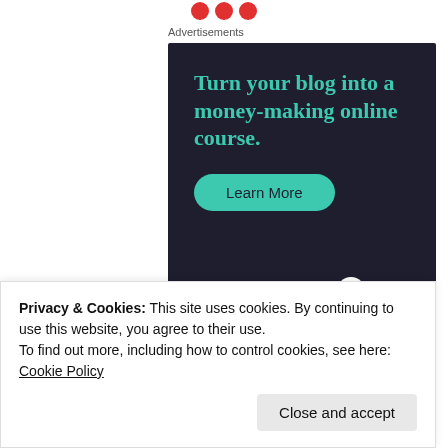[Figure (illustration): Three red circular dots at top center of page]
Advertisements
[Figure (screenshot): Advertisement banner for Sensei with dark background. Text: 'Turn your blog into a money-making online course.' with a teal 'Learn More' button and Sensei logo at bottom right.]
REPORT THIS AD
SHARE THIS
Privacy & Cookies: This site uses cookies. By continuing to use this website, you agree to their use.
To find out more, including how to control cookies, see here: Cookie Policy
Close and accept